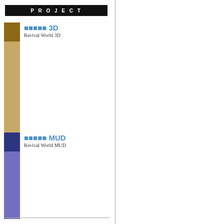PROJECT
3D Revival World 3D
MUD Revival World MUD